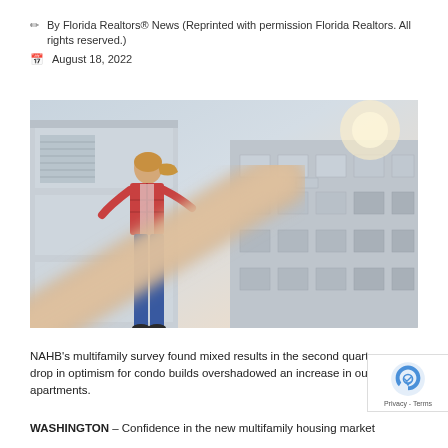By Florida Realtors® News (Reprinted with permission Florida Realtors. All rights reserved.)
August 18, 2022
[Figure (photo): Woman in plaid shirt and jeans standing on a balcony or rooftop, pointing or reaching toward the camera. In the background is a large grey multi-story apartment or condo building with balconies and windows. A blurred foreground arm reaches toward her.]
NAHB's multifamily survey found mixed results in the second quarter, as a drop in optimism for condo builds overshadowed an increase in outlooks for apartments.
WASHINGTON – Confidence in the new multifamily housing market